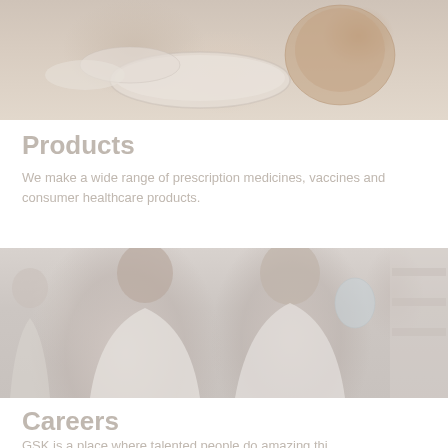[Figure (photo): Faded/washed-out photo of laboratory glassware including petri dishes and specimen containers on a light background, partially visible at top of page]
Products
We make a wide range of prescription medicines, vaccines and consumer healthcare products.
[Figure (photo): Faded/washed-out photo of two scientists or lab workers in white lab coats — a smiling woman with dark hair and safety glasses on the left, and a man with glasses on the right holding a flask or container — in a laboratory setting]
Careers
GSK is a place where talented people do amazing thi...